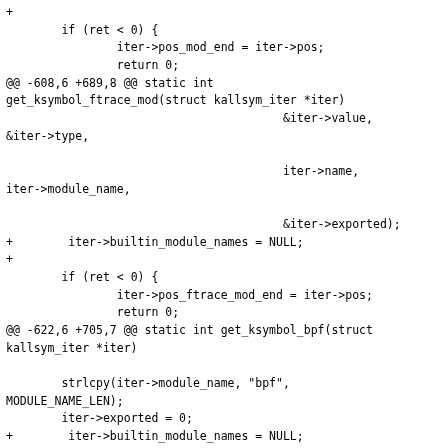+
        if (ret < 0) {
                iter->pos_mod_end = iter->pos;
                return 0;
@@ -608,6 +689,8 @@ static int get_ksymbol_ftrace_mod(struct kallsym_iter *iter)
                                        &iter->value,
&iter->type,

                                        iter->name,
iter->module_name,

                                        &iter->exported);
+        iter->builtin_module_names = NULL;
+
        if (ret < 0) {
                iter->pos_ftrace_mod_end = iter->pos;
                return 0;
@@ -622,6 +705,7 @@ static int get_ksymbol_bpf(struct kallsym_iter *iter)

        strlcpy(iter->module_name, "bpf", MODULE_NAME_LEN);
        iter->exported = 0;
+        iter->builtin_module_names = NULL;
        ret = bpf_get_kallsym(iter->pos - iter->pos_ftrace_mod_end,
                                        &iter->value, &iter->type,

                                        iter->name);
@@ -642,23 +726,53 @@ static int